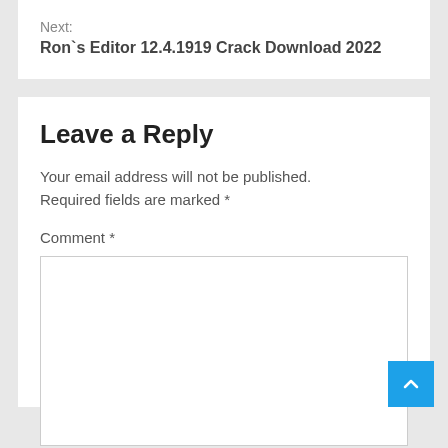Next:
Ron`s Editor 12.4.1919 Crack Download 2022
Leave a Reply
Your email address will not be published. Required fields are marked *
Comment *